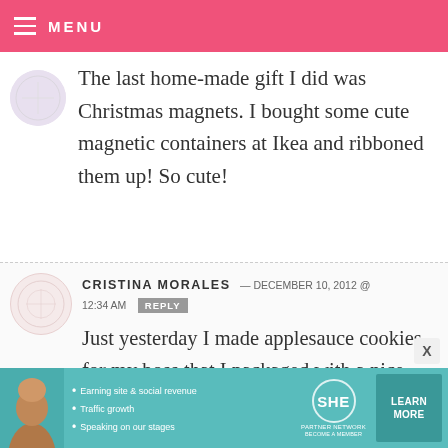MENU
The last home-made gift I did was Christmas magnets. I bought some cute magnetic containers at Ikea and ribboned them up! So cute!
CRISTINA MORALES — DECEMBER 10, 2012 @ 12:34 AM REPLY
Just yesterday I made applesauce cookies for my boss that I packaged with a nice bottle of vodka. Just the essentials, ha ha
[Figure (infographic): SHE Partner Network advertisement banner with woman photo, bullet points about earning site & social revenue, traffic growth, speaking on our stages, SHE logo, and Learn More button]